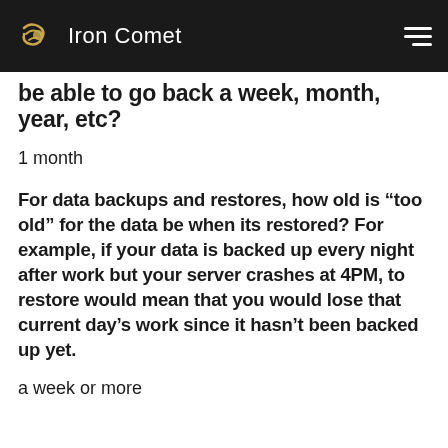Iron Comet
be able to go back a week, month, year, etc?
1 month
For data backups and restores, how old is “too old” for the data be when its restored? For example, if your data is backed up every night after work but your server crashes at 4PM, to restore would mean that you would lose that current day’s work since it hasn’t been backed up yet.
a week or more